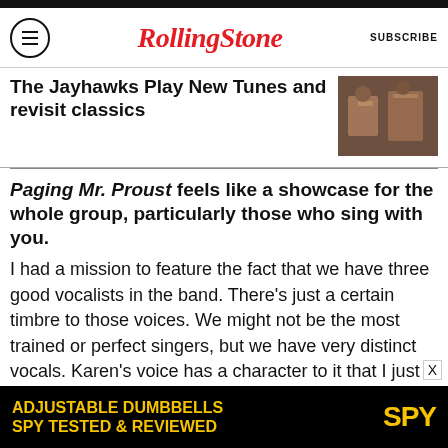Rolling Stone | SUBSCRIBE
The Jayhawks Play New Tunes and revisit classics
Paging Mr. Proust feels like a showcase for the whole group, particularly those who sing with you.
I had a mission to feature the fact that we have three good vocalists in the band. There’s just a certain timbre to those voices. We might not be the most trained or perfect singers, but we have very distinct vocals. Karen’s voice has a character to it that I just love. It almost has a Fleetwood Mac feel, and I love having a female voice in the band
[Figure (photo): Thumbnail photo of musicians playing instruments]
ADJUSTABLE DUMBBELLS SPY TESTED & REVIEWED